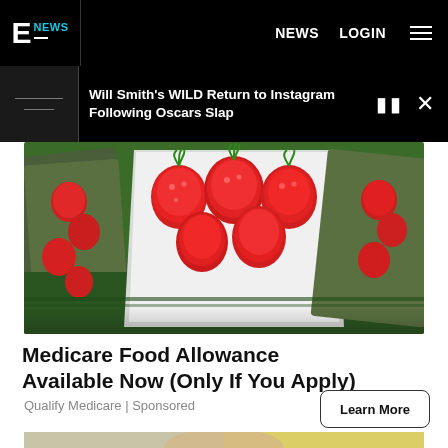E! NEWS  NEWS  LOGIN
Will Smith's WILD Return to Instagram Following Oscars Slap
[Figure (photo): Overhead view of strawberries in white cardboard cartons on a green market display]
Medicare Food Allowance Available Now (Only If You Apply)
Qualify Medicare | Sponsored
[Figure (photo): Woman with blonde hair photographed outdoors in front of a yellow structure, holding small objects in both hands]